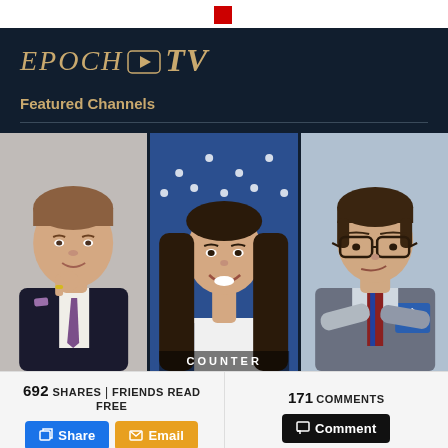[Figure (logo): Epoch TV logo with play button icon in gold/tan on dark navy background]
Featured Channels
[Figure (photo): Three side-by-side portrait photos of TV channel hosts: a man in a black suit with purple tie, a young woman in a white off-shoulder top with American flag background, and a man in glasses with crossed arms. Text 'COUNTER' partially visible at bottom of middle photo.]
692 SHARES | FRIENDS READ FREE
171 COMMENTS
Share
Email
Comment